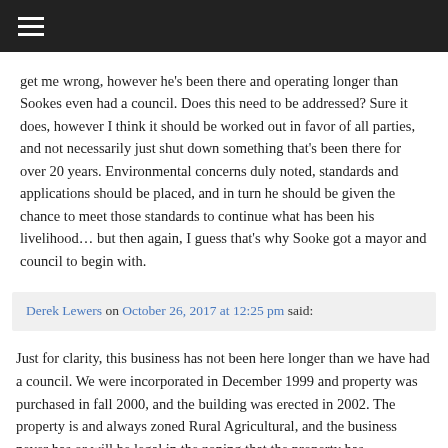get me wrong, however he's been there and operating longer than Sookes even had a council. Does this need to be addressed? Sure it does, however I think it should be worked out in favor of all parties, and not necessarily just shut down something that's been there for over 20 years. Environmental concerns duly noted, standards and applications should be placed, and in turn he should be given the chance to meet those standards to continue what has been his livelihood… but then again, I guess that's why Sooke got a mayor and council to begin with.
Derek Lewers on October 26, 2017 at 12:25 pm said:
Just for clarity, this business has not been here longer than we have had a council. We were incorporated in December 1999 and property was purchased in fall 2000, and the building was erected in 2002. The property is and always zoned Rural Agricultural, and the business never has or will be legal in the zoning that the property has
Derek Lewers on October 26, 2017 at 12:28 pm said: